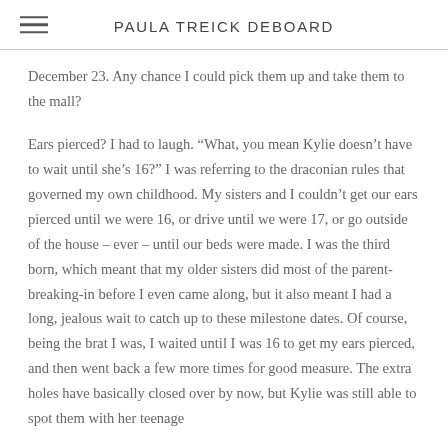PAULA TREICK DEBOARD
December 23. Any chance I could pick them up and take them to the mall?
Ears pierced? I had to laugh. “What, you mean Kylie doesn't have to wait until she's 16?” I was referring to the draconian rules that governed my own childhood. My sisters and I couldn't get our ears pierced until we were 16, or drive until we were 17, or go outside of the house – ever – until our beds were made. I was the third born, which meant that my older sisters did most of the parent-breaking-in before I even came along, but it also meant I had a long, jealous wait to catch up to these milestone dates. Of course, being the brat I was, I waited until I was 16 to get my ears pierced, and then went back a few more times for good measure. The extra holes have basically closed over by now, but Kylie was still able to spot them with her teenage